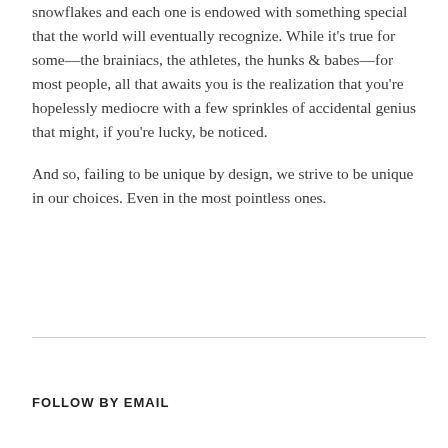snowflakes and each one is endowed with something special that the world will eventually recognize. While it's true for some—the brainiacs, the athletes, the hunks & babes—for most people, all that awaits you is the realization that you're hopelessly mediocre with a few sprinkles of accidental genius that might, if you're lucky, be noticed.

And so, failing to be unique by design, we strive to be unique in our choices. Even in the most pointless ones.
FOLLOW BY EMAIL